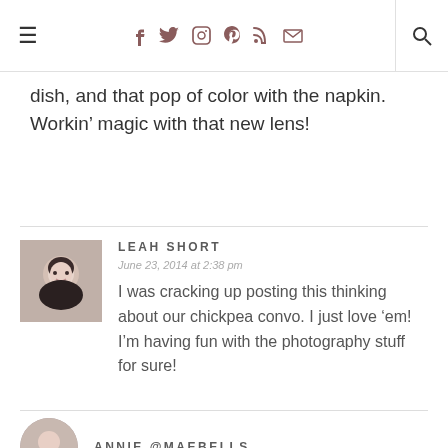≡  f  t  [instagram]  [pinterest]  [rss]  [mail]  [search]
dish, and that pop of color with the napkin. Workin’ magic with that new lens!
LEAH SHORT
June 23, 2014 at 2:38 pm
I was cracking up posting this thinking about our chickpea convo. I just love ’em! I’m having fun with the photography stuff for sure!
ANNIE @MAEBELLS